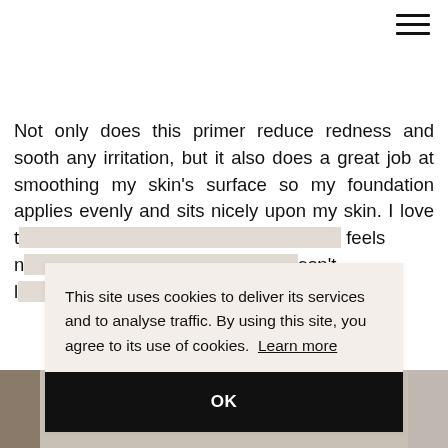[Figure (other): Hamburger menu icon (three horizontal lines) in top-right corner]
Not only does this primer reduce redness and sooth any irritation, but it also does a great job at smoothing my skin's surface so my foundation applies evenly and sits nicely upon my skin. I love t[...] feels [n...] esn't [...]
This site uses cookies to deliver its services and to analyse traffic. By using this site, you agree to its use of cookies. Learn more
OK